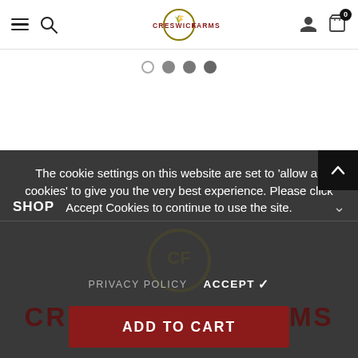Creswick Farms - navigation header with hamburger, search, logo, account and cart (0)
[Figure (screenshot): Carousel slide navigation dots: 1 hollow, 3 filled gray dots]
The cookie settings on this website are set to 'allow all cookies' to give you the very best experience. Please click Accept Cookies to continue to use the site.
PRIVACY POLICY   ACCEPT ✓
[Figure (logo): Creswick Farms large watermark text in dark section]
SHOP
ADD TO CART